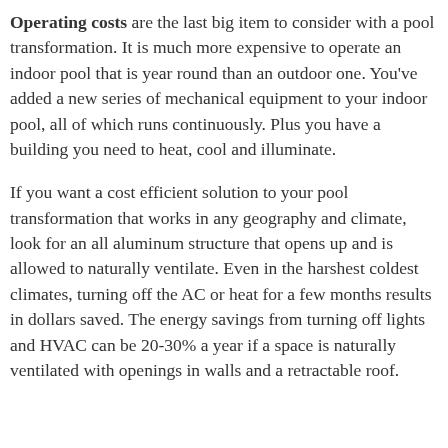Operating costs are the last big item to consider with a pool transformation. It is much more expensive to operate an indoor pool that is year round than an outdoor one. You've added a new series of mechanical equipment to your indoor pool, all of which runs continuously. Plus you have a building you need to heat, cool and illuminate.
If you want a cost efficient solution to your pool transformation that works in any geography and climate, look for an all aluminum structure that opens up and is allowed to naturally ventilate. Even in the harshest coldest climates, turning off the AC or heat for a few months results in dollars saved. The energy savings from turning off lights and HVAC can be 20-30% a year if a space is naturally ventilated with openings in walls and a retractable roof.